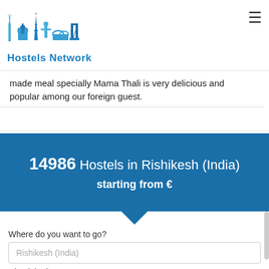Hostels Network
made meal specially Mama Thali is very delicious and popular among our foreign guest.
14986 Hostels in Rishikesh (India)
starting from €
Where do you want to go?
Rishikesh (India)
Check in date
09/02/2022